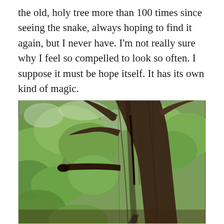the old, holy tree more than 100 times since seeing the snake, always hoping to find it again, but I never have.  I'm not really sure why I feel so compelled to look so often.  I suppose it must be hope itself.  It has its own kind of magic.
[Figure (photo): Close-up photograph of a large, ancient tree trunk with gnarled bark, multiple thick branches splitting from the trunk, and a stub of a broken branch protruding horizontally. Green foliage visible in the background.]